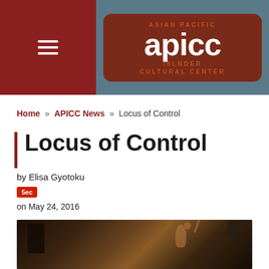[Figure (logo): APICC - Asian Pacific Islander Cultural Center logo, white text on dark red/brown rounded rectangle background, set against a slate blue-gray header bar with a hamburger menu icon on the left in a dark red sidebar]
Home » APICC News » Locus of Control
Locus of Control
by Elisa Gyotoku
5ec
on May 24, 2016
[Figure (photo): Dark atmospheric photograph showing a performer on stage with arm raised, holding a microphone, with overhead lights visible]